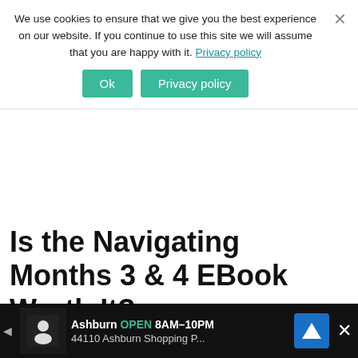We use cookies to ensure that we give you the best experience on our website. If you continue to use this site we will assume that you are happy with it. Privacy policy
Ok | Privacy policy (buttons)
Is the Navigating Months 3 & 4 EBook Worth It?
I've read it twice, and I'm reading it a third time.
I think Navigating Months 3 & 4 is a great resource. I don't think it's for beginners that know absolutely nothing about sleep training. However, if you've already done some research on infant sleep and
[Figure (other): Ad banner at bottom: Ashburn OPEN 8AM-10PM, 44110 Ashburn Shopping P..., with navigation icon and close button]